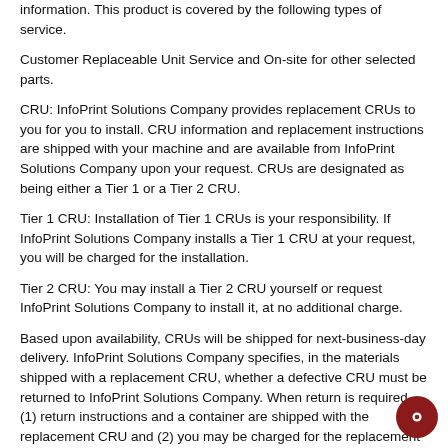information. This product is covered by the following types of service.
Customer Replaceable Unit Service and On-site for other selected parts.
CRU: InfoPrint Solutions Company provides replacement CRUs to you for you to install. CRU information and replacement instructions are shipped with your machine and are available from InfoPrint Solutions Company upon your request. CRUs are designated as being either a Tier 1 or a Tier 2 CRU.
Tier 1 CRU: Installation of Tier 1 CRUs is your responsibility. If InfoPrint Solutions Company installs a Tier 1 CRU at your request, you will be charged for the installation.
Tier 2 CRU: You may install a Tier 2 CRU yourself or request InfoPrint Solutions Company to install it, at no additional charge.
Based upon availability, CRUs will be shipped for next-business-day delivery. InfoPrint Solutions Company specifies, in the materials shipped with a replacement CRU, whether a defective CRU must be returned to InfoPrint Solutions Company. When return is required, (1) return instructions and a container are shipped with the replacement CRU and (2) you may be charged for the replacement CRU if InfoPrint Solutions Company does not receive the defective CRU within 15 days of your receipt of the replacement.
The following parts have been designated as Tier 1 CRU parts:
All output devices